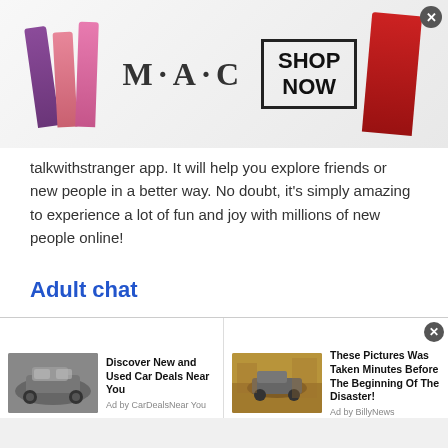[Figure (photo): MAC cosmetics advertisement banner showing colorful lipsticks on the left, MAC logo text, a 'SHOP NOW' box, and a red lipstick on the right]
talkwithstranger app. It will help you explore friends or new people in a better way. No doubt, it's simply amazing to experience a lot of fun and joy with millions of new people online!
Adult chat
Adult chat is all open for men and women who want to chit chat and learn new things via free online chat. Talk to strangers in Czech Republic at
[Figure (screenshot): Bottom advertisement bar with two ads: 'Discover New and Used Car Deals Near You' by CarDealsNearYou, and 'These Pictures Was Taken Minutes Before The Beginning Of The Disaster!' by BillyNews]